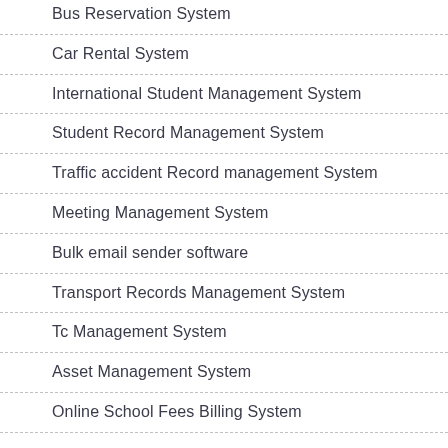Bus Reservation System
Car Rental System
International Student Management System
Student Record Management System
Traffic accident Record management System
Meeting Management System
Bulk email sender software
Transport Records Management System
Tc Management System
Asset Management System
Online School Fees Billing System